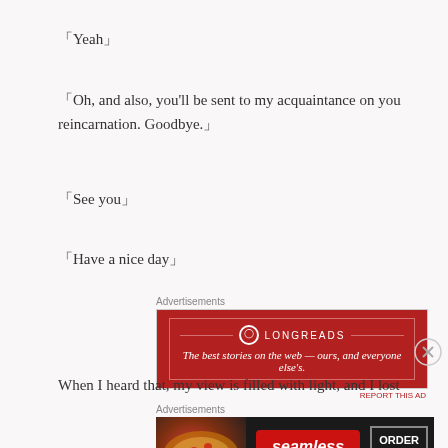「Yeah」
「Oh, and also, you'll be sent to my acquaintance on you reincarnation. Goodbye.」
「See you」
「Have a nice day」
[Figure (other): Longreads advertisement banner: red background with Longreads logo and tagline 'The best stories on the web — ours, and everyone else's.']
When I heard that, my view is filled with light, and I lost
[Figure (other): Seamless food delivery advertisement with pizza image, Seamless logo and ORDER NOW button]